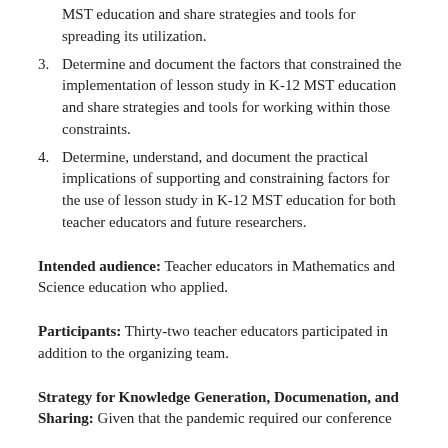MST education and share strategies and tools for spreading its utilization.
3. Determine and document the factors that constrained the implementation of lesson study in K-12 MST education and share strategies and tools for working within those constraints.
4. Determine, understand, and document the practical implications of supporting and constraining factors for the use of lesson study in K-12 MST education for both teacher educators and future researchers.
Intended audience: Teacher educators in Mathematics and Science education who applied.
Participants: Thirty-two teacher educators participated in addition to the organizing team.
Strategy for Knowledge Generation, Documenation, and Sharing: Given that the pandemic required our conference